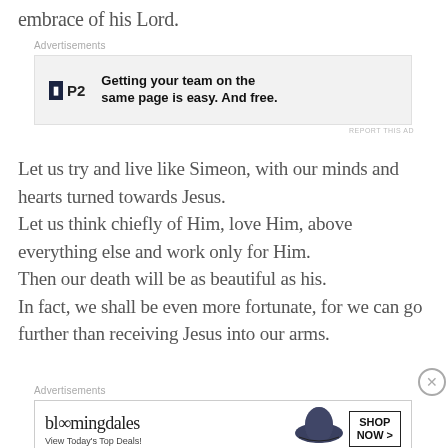embrace of his Lord.
Advertisements
[Figure (other): P2 advertisement: Getting your team on the same page is easy. And free.]
Let us try and live like Simeon, with our minds and hearts turned towards Jesus. Let us think chiefly of Him, love Him, above everything else and work only for Him. Then our death will be as beautiful as his. In fact, we shall be even more fortunate, for we can go further than receiving Jesus into our arms.
Advertisements
[Figure (other): Bloomingdale's advertisement: View Today's Top Deals! SHOP NOW >]